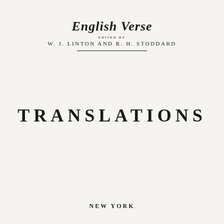English Verse
EDITED BY
W. J. LINTON AND R. H. STODDARD
TRANSLATIONS
NEW YORK